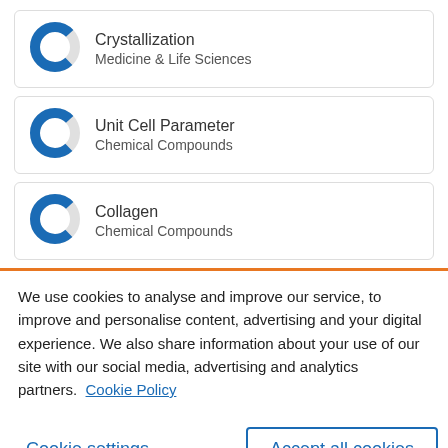Crystallization — Medicine & Life Sciences
Unit Cell Parameter — Chemical Compounds
Collagen — Chemical Compounds
We use cookies to analyse and improve our service, to improve and personalise content, advertising and your digital experience. We also share information about your use of our site with our social media, advertising and analytics partners.  Cookie Policy
Cookie settings
Accept all cookies